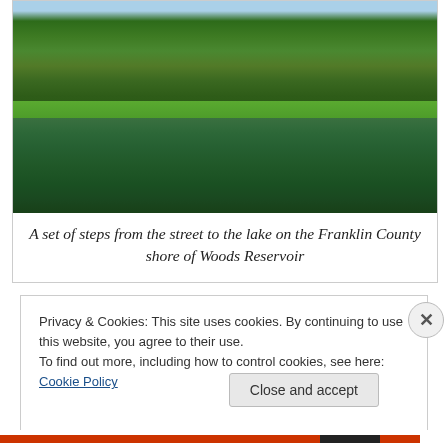[Figure (photo): A view from the water looking toward the Franklin County shore of Woods Reservoir, showing trees, a green lawn, and a small structure, with dark green water in the foreground.]
A set of steps from the street to the lake on the Franklin County shore of Woods Reservoir
Privacy & Cookies: This site uses cookies. By continuing to use this website, you agree to their use.
To find out more, including how to control cookies, see here: Cookie Policy